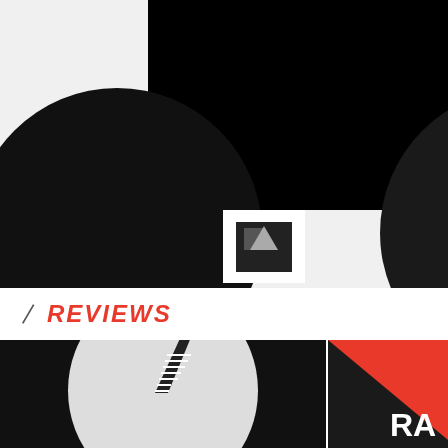[Figure (screenshot): Music channel profile section showing dame-music with black circular avatar on dark background with white label box, and partial Sneaker Soul channel on right]
dame-music
Follow
Sneaker So...
Fo...
REVIEWS
[Figure (screenshot): Album artwork with black background, grey circle containing horizontal striped '7' numeral graphic]
[Figure (logo): Resident Advisor logo on red triangle corner badge over dark background]